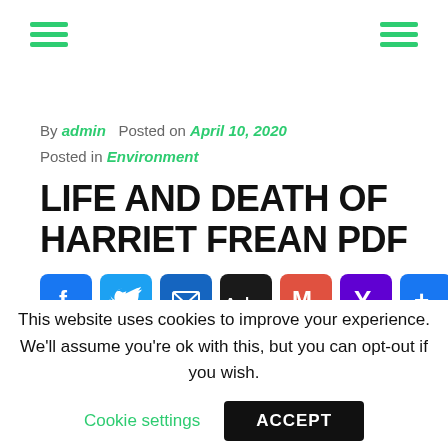Navigation menu icons (hamburger) left and right
By admin  Posted on April 10, 2020
Posted in Environment
LIFE AND DEATH OF HARRIET FREAN PDF
[Figure (infographic): Social media share buttons: Facebook, Twitter, Email, AOL, Gmail, Yahoo, More]
This website uses cookies to improve your experience. We'll assume you're ok with this, but you can opt-out if you wish.
Cookie settings   ACCEPT